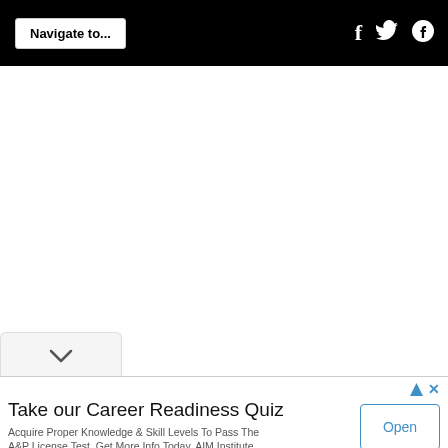Navigate to...
[Figure (screenshot): White blank content area below navigation bar]
[Figure (screenshot): Dropdown tab with chevron/down arrow]
Take our Career Readiness Quiz
Acquire Proper Knowledge & Skill Levels To Pass The A&P License Test. Get More Info Today. AIM Institute
Open